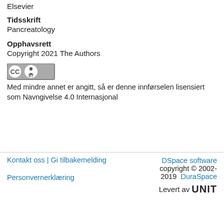Elsevier
Tidsskrift
Pancreatology
Opphavsrett
Copyright 2021 The Authors
[Figure (logo): Creative Commons CC BY license badge]
Med mindre annet er angitt, så er denne innførselen lisensiert som Navngivelse 4.0 Internasjonal
Kontakt oss | Gi tilbakemelding    Personvernerklæring    DSpace software copyright © 2002-2019  DuraSpace    Levert av UNIT